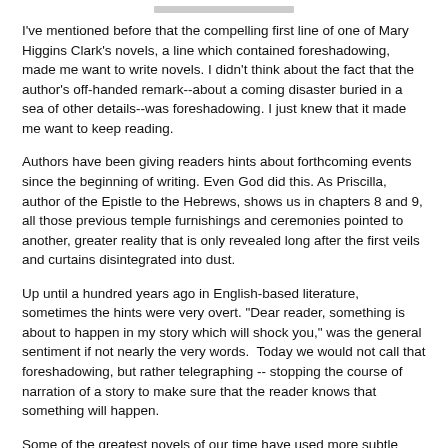I've mentioned before that the compelling first line of one of Mary Higgins Clark's novels, a line which contained foreshadowing, made me want to write novels. I didn't think about the fact that the author's off-handed remark--about a coming disaster buried in a sea of other details--was foreshadowing. I just knew that it made me want to keep reading.
Authors have been giving readers hints about forthcoming events since the beginning of writing. Even God did this. As Priscilla, author of the Epistle to the Hebrews, shows us in chapters 8 and 9, all those previous temple furnishings and ceremonies pointed to another, greater reality that is only revealed long after the first veils and curtains disintegrated into dust.
Up until a hundred years ago in English-based literature, sometimes the hints were very overt. "Dear reader, something is about to happen in my story which will shock you," was the general sentiment if not nearly the very words.  Today we would not call that foreshadowing, but rather telegraphing -- stopping the course of narration of a story to make sure that the reader knows that  something will happen.
Some of the greatest novels of our time have used more subtle foreshadowing. Consider the opening lines of Hemingway's A Farewell to Arms:
The leaves fell early that year.
We may not know what will happen, but we have a sense of foreboding